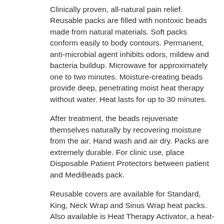Clinically proven, all-natural pain relief. Reusable packs are filled with nontoxic beads made from natural materials. Soft packs conform easily to body contours. Permanent, anti-microbial agent inhibits odors, mildew and bacteria buildup. Microwave for approximately one to two minutes. Moisture-creating beads provide deep, penetrating moist heat therapy without water. Heat lasts for up to 30 minutes.
After treatment, the beads rejuvenate themselves naturally by recovering moisture from the air. Hand wash and air dry. Packs are extremely durable. For clinic use, place Disposable Patient Protectors between patient and MediBeads pack.
Reusable covers are available for Standard, King, Neck Wrap and Sinus Wrap heat packs. Also available is Heat Therapy Activator, a heat-activated, aloe-based pain relief spray that penetrates fast to relieve arthritis pain, joint stiffness and muscle aches using all-natural ingredients.
Latex free.
Brand: North Coast